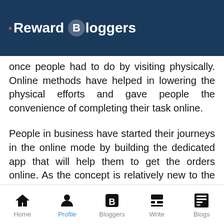Reward Bloggers
once people had to do by visiting physically. Online methods have helped in lowering the physical efforts and gave people the convenience of completing their task online.
People in business have started their journeys in the online mode by building the dedicated app that will help them to get the orders online. As the concept is relatively new to the people in business, they might don't have enough knowledge about the entire developing
Home | Profile | Bloggers | Write | Blogs